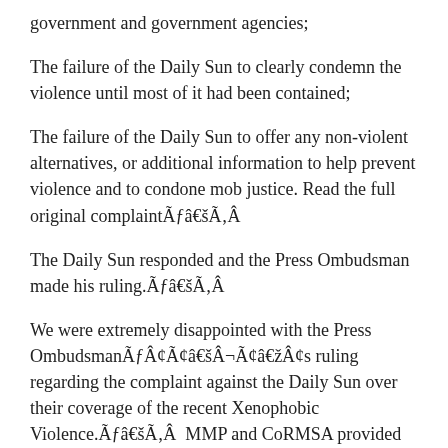government and government agencies;
The failure of the Daily Sun to clearly condemn the violence until most of it had been contained;
The failure of the Daily Sun to offer any non-violent alternatives, or additional information to help prevent violence and to condone mob justice. Read the full original complaintÃƒâ€šÃ‚Â
The Daily Sun responded and the Press Ombudsman made his ruling.Ãƒâ€šÃ‚Â
We were extremely disappointed with the Press OmbudsmanÃƒÂ¢Ã¢â€šÂ¬Ã¢â€žÂ¢s ruling regarding the complaint against the Daily Sun over their coverage of the recent Xenophobic Violence.Ãƒâ€šÃ‚Â  MMP and CoRMSA provided detailed evidence in our complaint, and we believe the OmbudsmanÃƒÂ¢Ã¢â€šÂ¬Ã¢â€žÂ¢s ruling is inadequate and fails to address all elements of the complaintÃƒâ€šÃ‚Â The Ombudsman made his